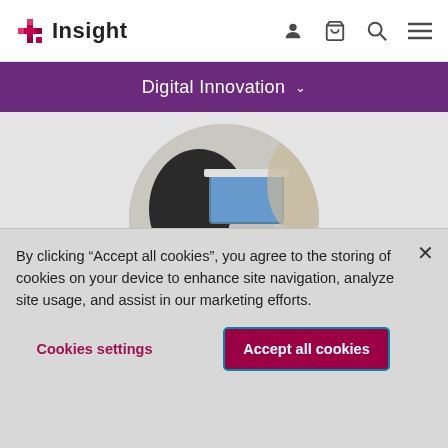Insight
Digital Innovation
[Figure (photo): Circular-cropped photo of a person working at a computer/laptop]
Develop the tool.
By clicking “Accept all cookies”, you agree to the storing of cookies on your device to enhance site navigation, analyze site usage, and assist in our marketing efforts.
Cookies settings
Accept all cookies